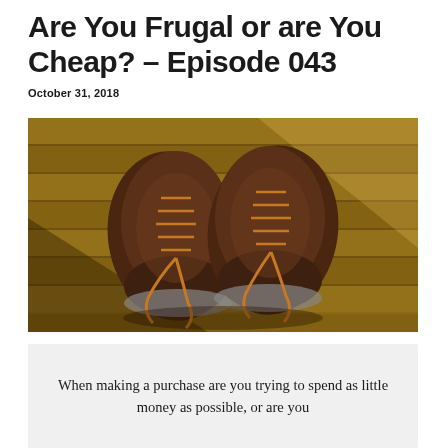Are You Frugal or are You Cheap? – Episode 043
October 31, 2018
[Figure (photo): Overhead view of a pair of worn brown leather lace-up boots on a wooden floor, with sunlight casting shadows across the floor.]
When making a purchase are you trying to spend as little money as possible, or are you